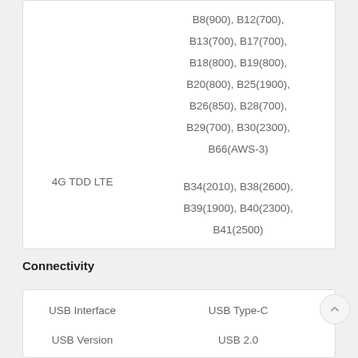|  |  |
| --- | --- |
|  | B8(900), B12(700), B13(700), B17(700), B18(800), B19(800), B20(800), B25(1900), B26(850), B28(700), B29(700), B30(2300), B66(AWS-3) |
| 4G TDD LTE | B34(2010), B38(2600), B39(1900), B40(2300), B41(2500) |
Connectivity
|  |  |
| --- | --- |
| USB Interface | USB Type-C |
| USB Version | USB 2.0 |